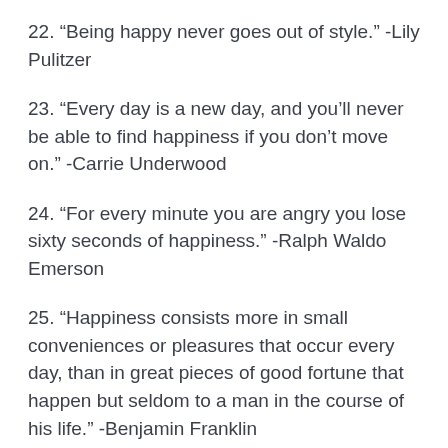22. “Being happy never goes out of style.” -Lily Pulitzer
23. “Every day is a new day, and you’ll never be able to find happiness if you don’t move on.” -Carrie Underwood
24. “For every minute you are angry you lose sixty seconds of happiness.” -Ralph Waldo Emerson
25. “Happiness consists more in small conveniences or pleasures that occur every day, than in great pieces of good fortune that happen but seldom to a man in the course of his life.” -Benjamin Franklin
26. “Do not set aside your happiness. Do not wait to